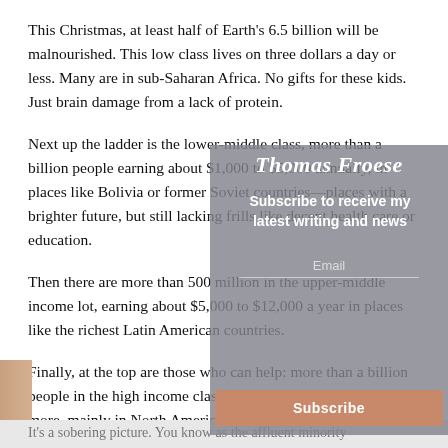This Christmas, at least half of Earth's 6.5 billion will be malnourished. This low class lives on three dollars a day or less. Many are in sub-Saharan Africa. No gifts for these kids. Just brain damage from a lack of protein.
Next up the ladder is the lower-middle class, more than a billion people earning about $1,000 to $5,000 annually, in places like Bolivia or former Soviet countries—places with a brighter future, but still lacking frills like decent health care or education.
Then there are more than 500 million in the upper-middle income lot, earning about $5,000 to $12,000 a year in places like the richest Latin American countries.
Finally, at the top are those who can help: more than a billion people in the high income class, earning $12,000 a year or more, mainly in North America, Europe and Japan.
It's a sobering picture. You know as the affluent minority...